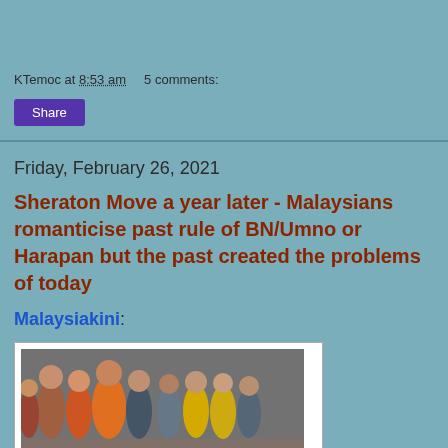KTemoc at 8:53 am    5 comments:
Share
Friday, February 26, 2021
Sheraton Move a year later - Malaysians romanticise past rule of BN/Umno or Harapan but the past created the problems of today
Malaysiakini:
[Figure (photo): Group photo of people, one wearing an orange batik shirt in the center, others in casual and formal attire including some in yellow vests]